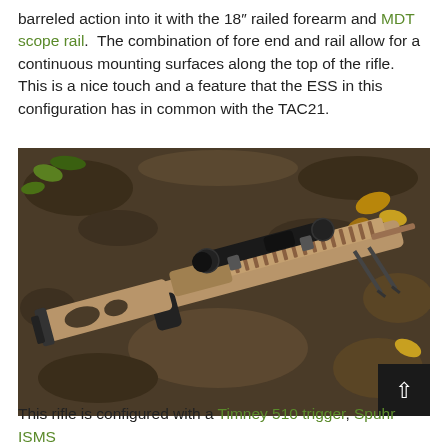barreled action into it with the 18" railed forearm and MDT scope rail. The combination of fore end and rail allow for a continuous mounting surfaces along the top of the rifle. This is a nice touch and a feature that the ESS in this configuration has in common with the TAC21.
[Figure (photo): Photograph of a precision rifle (tan/FDE colored chassis with black pistol grip) lying on dark soil/ground with autumn leaves, fitted with a scope and bipod.]
This rifle is configured with a Timney 510 trigger, Spuhr ISMS